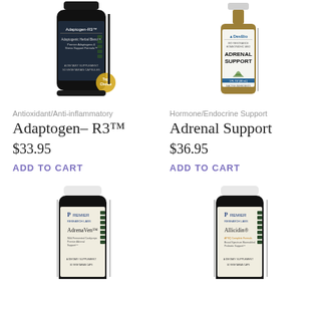[Figure (photo): Dark supplement bottle labeled Adaptogen-R3 with gold Top Choice badge, Premier Research Labs]
[Figure (photo): DesBio amber glass bottle labeled Adrenal Support homeopathic remedy with dropper]
Antioxidant/Anti-inflammatory
Hormone/Endocrine Support
Adaptogen– R3™
Adrenal Support
$33.95
$36.95
ADD TO CART
ADD TO CART
[Figure (photo): Dark supplement bottle labeled AdrenaVen, Premier Research Labs, Wild Fermented Cordyceps Premier Adrenal Support dietary supplement]
[Figure (photo): Dark supplement bottle labeled AllicidinR, Premier Research Labs, APSQ Complete Formula, Broad Spectrum Bioenabled Probiotic Support dietary supplement]